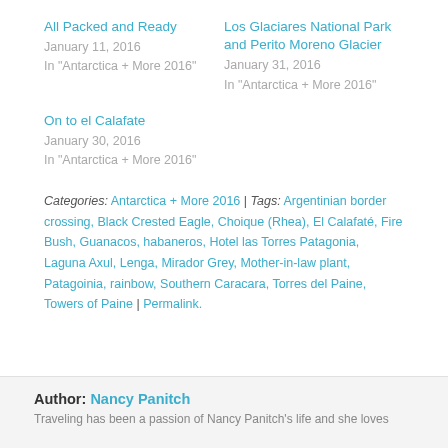All Packed and Ready
January 11, 2016
In "Antarctica + More 2016"
Los Glaciares National Park and Perito Moreno Glacier
January 31, 2016
In "Antarctica + More 2016"
On to el Calafate
January 30, 2016
In "Antarctica + More 2016"
Categories: Antarctica + More 2016 | Tags: Argentinian border crossing, Black Crested Eagle, Choique (Rhea), El Calafaté, Fire Bush, Guanacos, habaneros, Hotel las Torres Patagonia, Laguna Axul, Lenga, Mirador Grey, Mother-in-law plant, Patagoinia, rainbow, Southern Caracara, Torres del Paine, Towers of Paine | Permalink.
Author: Nancy Panitch
Traveling has been a passion of Nancy Panitch's life and she loves